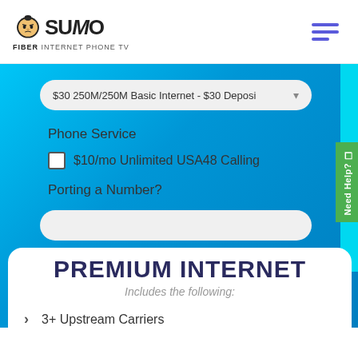[Figure (logo): Sumo Fiber Internet Phone TV logo with sumo wrestler mascot icon]
$30 250M/250M Basic Internet - $30 Deposit
Phone Service
$10/mo Unlimited USA48 Calling
Porting a Number?
PREMIUM INTERNET
Includes the following:
3+ Upstream Carriers
Need Help?